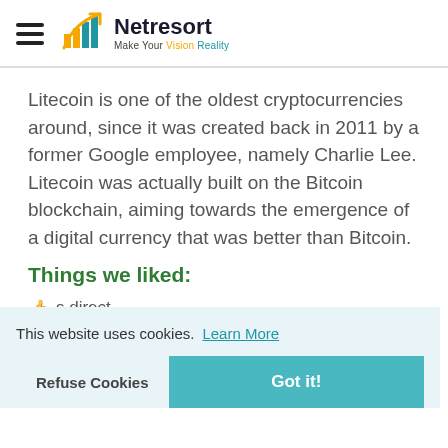Netresort — Make Your Vision Reality
Litecoin is one of the oldest cryptocurrencies around, since it was created back in 2011 by a former Google employee, namely Charlie Lee. Litecoin was actually built on the Bitcoin blockchain, aiming towards the emergence of a digital currency that was better than Bitcoin.
Things we liked:
s direct
h
Near ubiquitous listing on exchanges and some